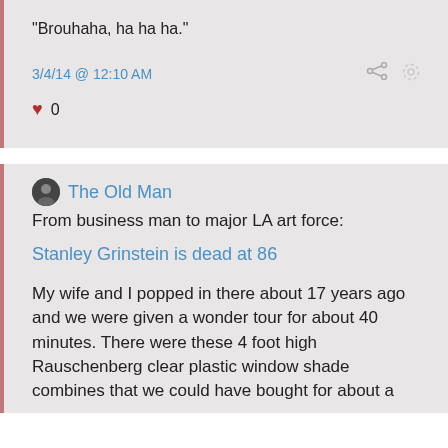"Brouhaha, ha ha ha."
3/4/14 @ 12:10 AM
♥ 0
The Old Man
From business man to major LA art force:
Stanley Grinstein is dead at 86
My wife and I popped in there about 17 years ago and we were given a wonder tour for about 40 minutes. There were these 4 foot high Rauschenberg clear plastic window shade combines that we could have bought for about a